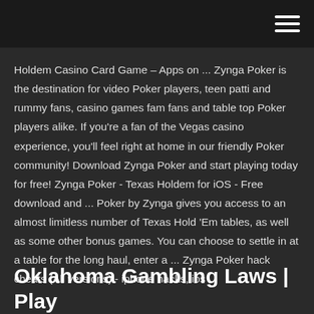Holdem Casino Card Game – Apps on ... Zynga Poker is the destination for video Poker players, teen patti and rummy fans, casino games fam fans and table top Poker players alike. If you're a fan of the Vegas casino experience, you'll feel right at home in our friendly Poker community! Download Zynga Poker and start playing today for free! Zynga Poker - Texas Holdem for iOS - Free download and ... Poker by Zynga gives you access to an almost limitless number of Texas Hold 'Em tables, as well as some other bonus games. You can choose to settle in at a table for the long haul, enter a ... Zynga Poker hack cheats (All versions) - iphone hacks, ios ...
Oklahoma Gambling Laws | Play